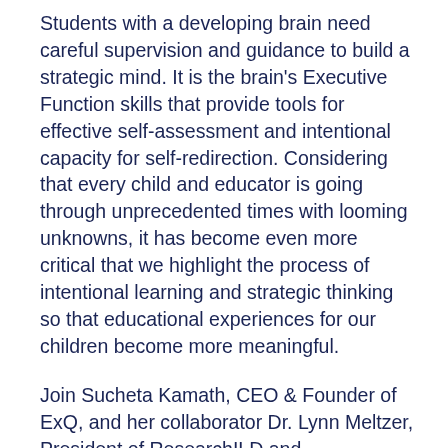Students with a developing brain need careful supervision and guidance to build a strategic mind. It is the brain's Executive Function skills that provide tools for effective self-assessment and intentional capacity for self-redirection. Considering that every child and educator is going through unprecedented times with looming unknowns, it has become even more critical that we highlight the process of intentional learning and strategic thinking so that educational experiences for our children become more meaningful.
Join Sucheta Kamath, CEO & Founder of ExQ, and her collaborator Dr. Lynn Meltzer, President of ResearchILD and